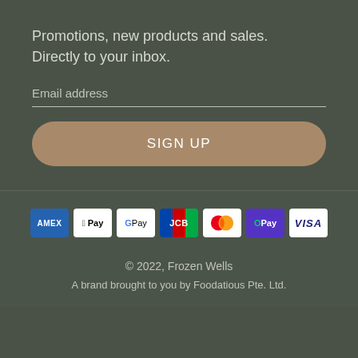Promotions, new products and sales.
Directly to your inbox.
Email address
[Figure (infographic): SIGN UP button — a wide rounded rectangle with tan/brown background (#a88a6a) and white text reading SIGN UP]
[Figure (infographic): Row of payment method icons: AMEX, Apple Pay, Google Pay, JCB, Mastercard, OPay, VISA]
© 2022, Frozen Wells
A brand brought to you by Foodatious Pte. Ltd.